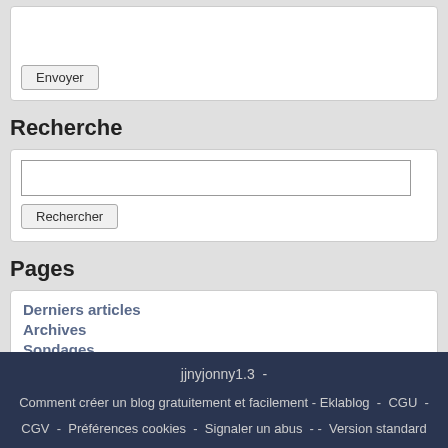[Figure (screenshot): White box with Envoyer button at bottom left]
Recherche
[Figure (screenshot): Search box with text input field and Rechercher button]
Pages
Derniers articles
Archives
Sondages
Contact
Connexion
jjnyjonny1.3 - Comment créer un blog gratuitement et facilement - Eklablog - CGU - CGV - Préférences cookies - Signaler un abus - - Version standard